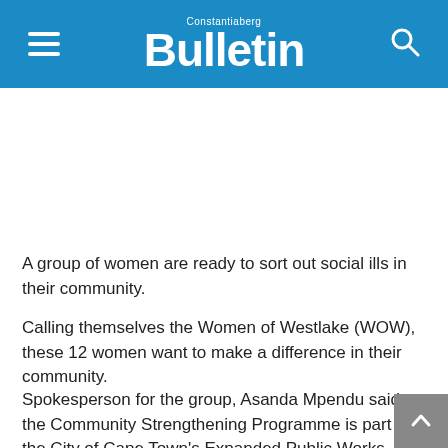Constantiaberg Bulletin
[Figure (other): Advertisement space — blank white area]
A group of women are ready to sort out social ills in their community.
Calling themselves the Women of Westlake (WOW), these 12 women want to make a difference in their community.
Spokesperson for the group, Asanda Mpendu said the Community Strengthening Programme is part of the City of Cape Town's Expanded Public Works Programme (EPWP)